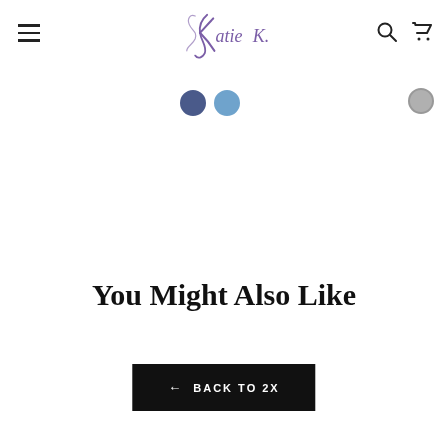[Figure (logo): Katie K. brand logo with stylized purple K and script text 'Katie K.']
BACK TO 2X
You Might Also Like